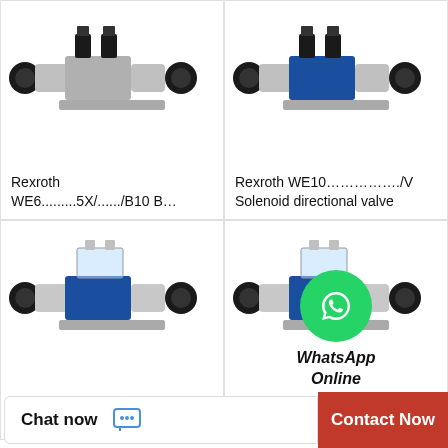[Figure (photo): Rexroth WE6 solenoid directional valve with gray body, black connectors, silver cylindrical ends]
Rexroth WE6.........5X/....../B10 B…
[Figure (photo): Rexroth WE10 solenoid directional valve with blue body, black connectors, silver cylindrical ends]
Rexroth WE10……………../V Solenoid directional valve
[Figure (photo): Rexroth solenoid directional valve with blue body and transparent connector housing]
[Figure (photo): Rexroth solenoid directional valve with blue body and transparent connector housing, similar to bottom-left]
[Figure (illustration): WhatsApp Online badge — green circle with phone icon, italic bold text 'WhatsApp Online']
Chat now
Contact Now